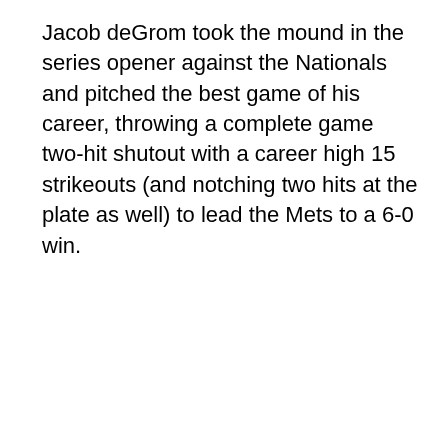Jacob deGrom took the mound in the series opener against the Nationals and pitched the best game of his career, throwing a complete game two-hit shutout with a career high 15 strikeouts (and notching two hits at the plate as well) to lead the Mets to a 6-0 win.